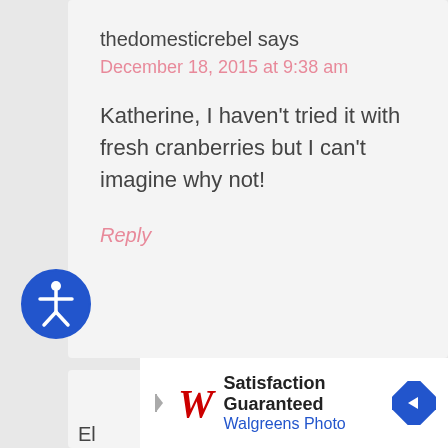thedomesticrebel says
December 18, 2015 at 9:38 am
Katherine, I haven't tried it with fresh cranberries but I can't imagine why not!
Reply
[Figure (illustration): Blue circular accessibility icon with a person figure in white]
El
[Figure (screenshot): Walgreens Photo advertisement: Satisfaction Guaranteed, Walgreens Photo, with Walgreens W logo and blue diamond arrow icon]